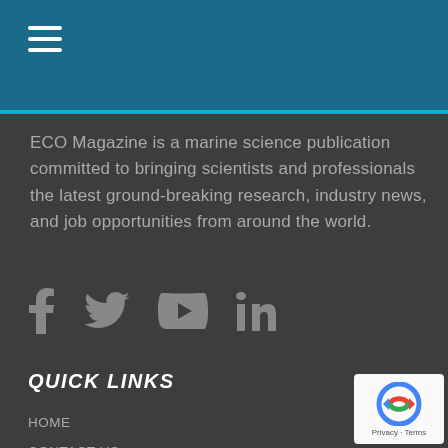ECO Magazine header with hamburger menu
ECO Magazine is a marine science publication committed to bringing scientists and professionals the latest ground-breaking research, industry news, and job opportunities from around the world.
[Figure (illustration): Social media icons: Facebook, Twitter, YouTube, LinkedIn]
QUICK LINKS
HOME
CONTACT US
PRIVACY POLICY
MY SUBSCRIPTION
SUBSCRIBE
[Figure (logo): reCAPTCHA badge with Privacy and Terms text]